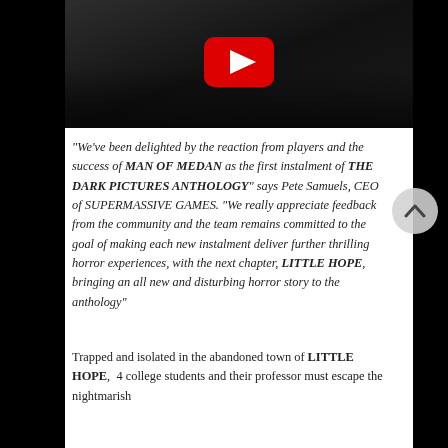[Figure (screenshot): YouTube video thumbnail showing a dark scene with a play button overlay]
“We’ve been delighted by the reaction from players and the success of MAN OF MEDAN as the first instalment of THE DARK PICTURES ANTHOLOGY” says Pete Samuels, CEO of SUPERMASSIVE GAMES. “We really appreciate feedback from the community and the team remains committed to the goal of making each new instalment deliver further thrilling horror experiences, with the next chapter, LITTLE HOPE, bringing an all new and disturbing horror story to the anthology”
Trapped and isolated in the abandoned town of LITTLE HOPE,  4 college students and their professor must escape the nightmarish